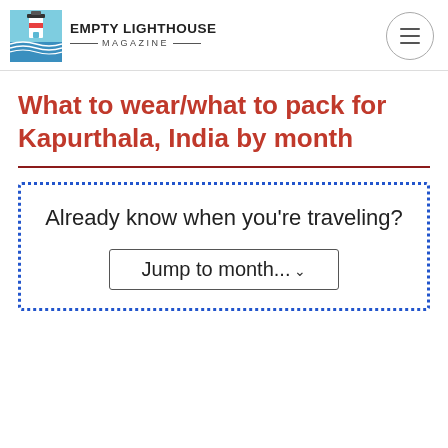Empty Lighthouse Magazine
What to wear/what to pack for Kapurthala, India by month
Already know when you're traveling?
Jump to month...